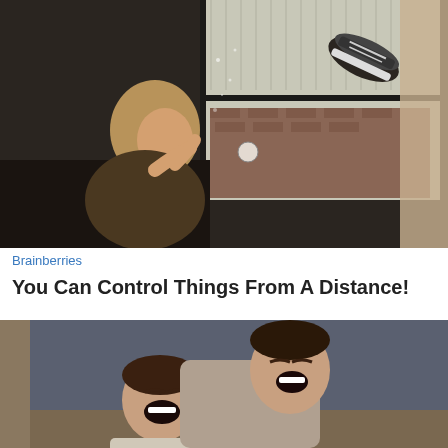[Figure (photo): A woman sitting by a window, looking up at objects floating in the air — a sneaker and a small ball — as if she is levitating them with telekinesis. Dark, moody indoor lighting with window light.]
Brainberries
You Can Control Things From A Distance!
[Figure (photo): Two men laughing together indoors, one leaning over the other with a big open-mouthed smile. Indoor setting with muted tones.]